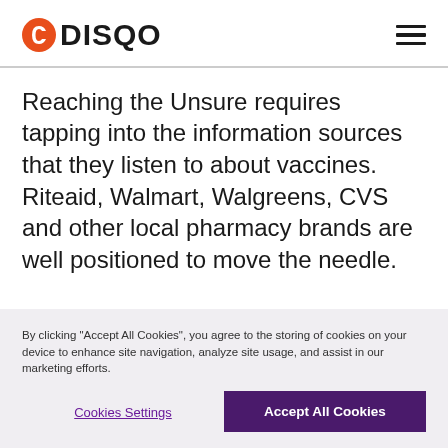[Figure (logo): DISQO logo with orange circle icon on the left and hamburger menu icon on the right]
Reaching the Unsure requires tapping into the information sources that they listen to about vaccines. Riteaid, Walmart, Walgreens, CVS and other local pharmacy brands are well positioned to move the needle.
By clicking "Accept All Cookies", you agree to the storing of cookies on your device to enhance site navigation, analyze site usage, and assist in our marketing efforts.
Cookies Settings
Accept All Cookies